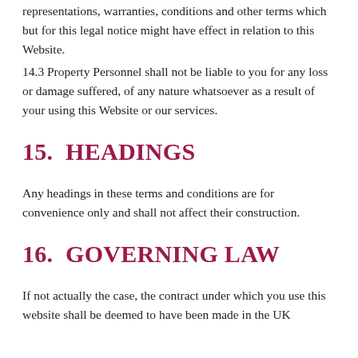representations, warranties, conditions and other terms which but for this legal notice might have effect in relation to this Website.
14.3 Property Personnel shall not be liable to you for any loss or damage suffered, of any nature whatsoever as a result of your using this Website or our services.
15.  HEADINGS
Any headings in these terms and conditions are for convenience only and shall not affect their construction.
16.  GOVERNING LAW
If not actually the case, the contract under which you use this website shall be deemed to have been made in the UK